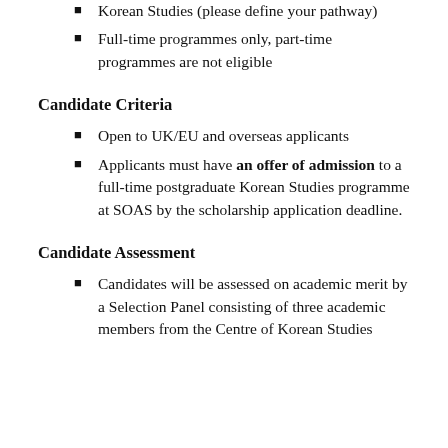Korean Studies (please define your pathway)
Full-time programmes only, part-time programmes are not eligible
Candidate Criteria
Open to UK/EU and overseas applicants
Applicants must have an offer of admission to a full-time postgraduate Korean Studies programme at SOAS by the scholarship application deadline.
Candidate Assessment
Candidates will be assessed on academic merit by a Selection Panel consisting of three academic members from the Centre of Korean Studies